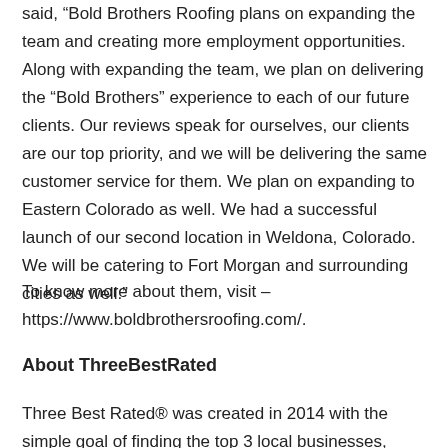said, “Bold Brothers Roofing plans on expanding the team and creating more employment opportunities. Along with expanding the team, we plan on delivering the “Bold Brothers” experience to each of our future clients. Our reviews speak for ourselves, our clients are our top priority, and we will be delivering the same customer service for them. We plan on expanding to Eastern Colorado as well. We had a successful launch of our second location in Weldona, Colorado. We will be catering to Fort Morgan and surrounding cities as well.”
To know more about them, visit – https://www.boldbrothersroofing.com/.
About ThreeBestRated
Three Best Rated® was created in 2014 with the simple goal of finding the top 3 local businesses, professionals,